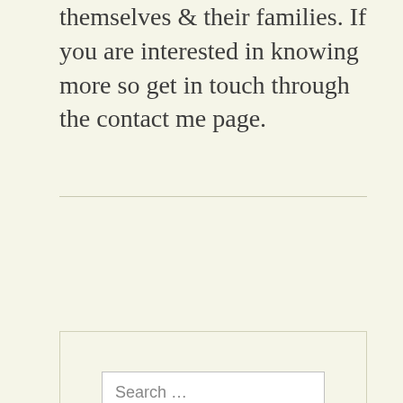themselves & their families. If you are interested in knowing more so get in touch through the contact me page.
Older Posts
Search ...